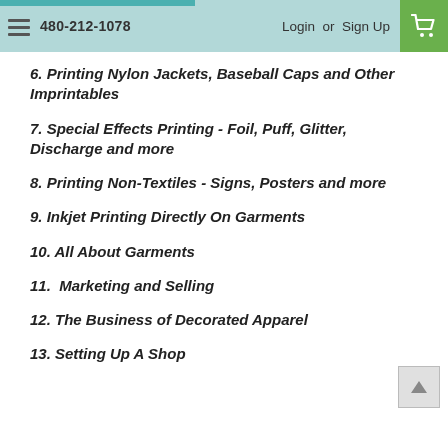480-212-1078  Login or Sign Up
6. Printing Nylon Jackets, Baseball Caps and Other Imprintables
7. Special Effects Printing - Foil, Puff, Glitter, Discharge and more
8. Printing Non-Textiles - Signs, Posters and more
9. Inkjet Printing Directly On Garments
10. All About Garments
11.  Marketing and Selling
12. The Business of Decorated Apparel
13. Setting Up A Shop